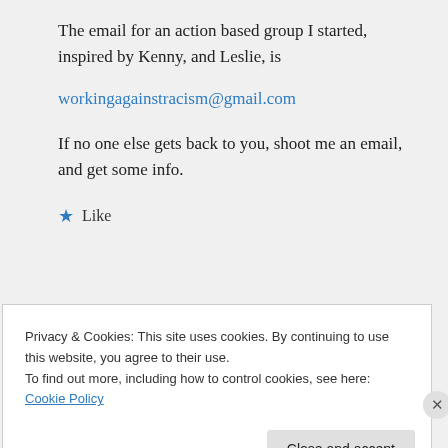The email for an action based group I started, inspired by Kenny, and Leslie, is
workingagainstracism@gmail.com
If no one else gets back to you, shoot me an email, and get some info.
★ Like
↳ Reply
Privacy & Cookies: This site uses cookies. By continuing to use this website, you agree to their use. To find out more, including how to control cookies, see here: Cookie Policy
Close and accept